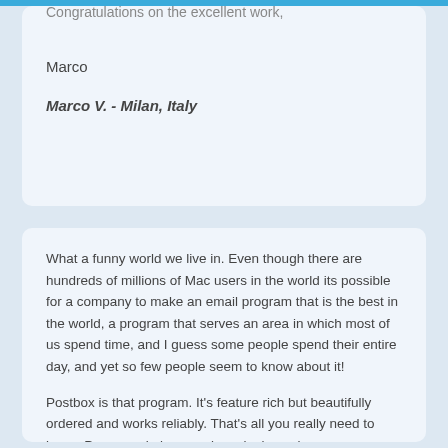Congratulations on the excellent work,
Marco
Marco V. - Milan, Italy
What a funny world we live in. Even though there are hundreds of millions of Mac users in the world its possible for a company to make an email program that is the best in the world, a program that serves an area in which most of us spend time, and I guess some people spend their entire day, and yet so few people seem to know about it!
Postbox is that program. It's feature rich but beautifully ordered and works reliably. That's all you really need to know. Power and elegance in a single package.
I have been using it for more than five years and I am so grateful to the people who develop it.